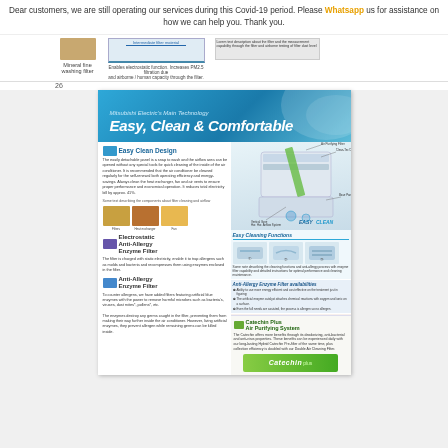Dear customers, we are still operating our services during this Covid-19 period. Please Whatsapp us for assistance on how we can help you. Thank you.
[Figure (photo): Top strip showing filter components: mineral fine washing filter image, air filter description panel, and a text description panel]
26
[Figure (illustration): Mitsubishi Electric brochure page showing Easy, Clean & Comfortable technology. Features Easy Clean Design with detachable panel, Electrostatic Anti-Allergy Enzyme Filter, Anti-Allergy Enzyme Filter, Catechin Plus Air Purifying System. Includes diagrams of air conditioner unit, cleaning steps, filter mechanism diagrams with molecule illustrations, and Catechin logo.]